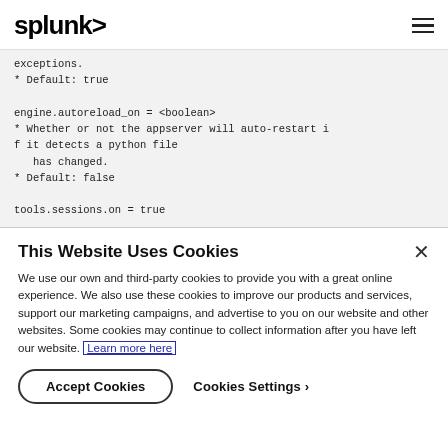splunk>
exceptions.
* Default: true

engine.autoreload_on = <boolean>
* Whether or not the appserver will auto-restart if it detects a python file
   has changed.
* Default: false

tools.sessions.on = true
This Website Uses Cookies
We use our own and third-party cookies to provide you with a great online experience. We also use these cookies to improve our products and services, support our marketing campaigns, and advertise to you on our website and other websites. Some cookies may continue to collect information after you have left our website. Learn more here
Accept Cookies
Cookies Settings ›